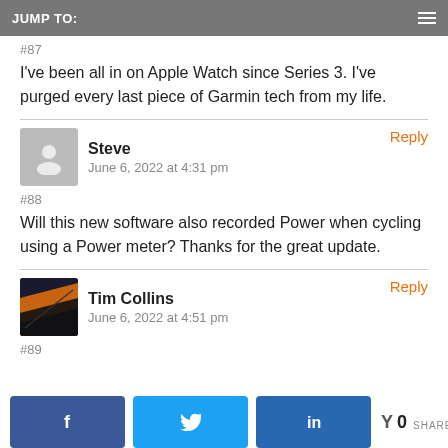JUMP TO:
#87
I've been all in on Apple Watch since Series 3. I've purged every last piece of Garmin tech from my life.
Steve
June 6, 2022 at 4:31 pm
#88
Will this new software also recorded Power when cycling using a Power meter? Thanks for the great update.
Tim Collins
June 6, 2022 at 4:51 pm
#89